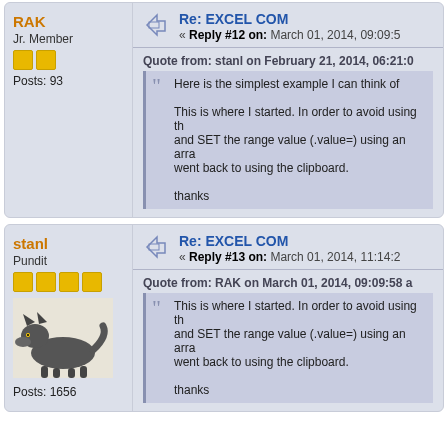RAK
Jr. Member
Posts: 93
Re: EXCEL COM
« Reply #12 on: March 01, 2014, 09:09:5...
Quote from: stanl on February 21, 2014, 06:21:0...
Here is the simplest example I can think of

This is where I started. In order to avoid using the and SET the range value (.value=) using an arra went back to using the clipboard.

thanks
stanl
Pundit
Posts: 1656
Re: EXCEL COM
« Reply #13 on: March 01, 2014, 11:14:2...
Quote from: RAK on March 01, 2014, 09:09:58 a...
This is where I started. In order to avoid using the and SET the range value (.value=) using an arra went back to using the clipboard.

thanks